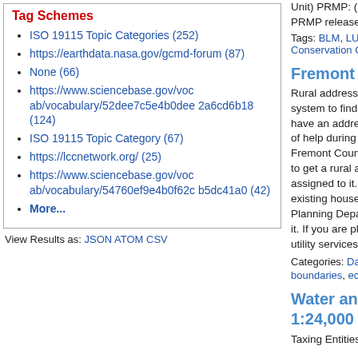Tag Schemes
ISO 19115 Topic Categories (252)
https://earthdata.nasa.gov/gcmd-forum (87)
None (66)
https://www.sciencebase.gov/vocab/vocabulary/52dee7c5e4b0dee2a6cd6b18 (124)
ISO 19115 Topic Category (67)
https://lccnetwork.org/ (25)
https://www.sciencebase.gov/vocab/vocabulary/54760ef9e4b0f62cb5dc41a0 (42)
More...
View Results as: JSON ATOM CSV
Unit) PRMP: (Proposed R... PRMP release version of...
Tags: BLM, LUP, Land Use Pla... Conservation Cooperative, All...
Fremont County W...
Rural addresses that are a... system to find you in case... have an address, or has a... of help during an emerge... Fremont County, you will r... to get a rural address (a.k... assigned to it. Even if you... existing house or busines... Planning Department to m... it. If you are planning to b... utility services will not inst...
Categories: Data; Types: Docu... boundaries, economy, All tags...
Water and Sewer D... 1:24,000
Taxing Entities consist of...